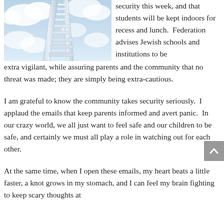[Figure (photo): A ladder extending upward into blue sky with clouds]
security this week, and that students will be kept indoors for recess and lunch.  Federation advises Jewish schools and institutions to be extra vigilant, while assuring parents and the community that no threat was made; they are simply being extra-cautious.
I am grateful to know the community takes security seriously.  I applaud the emails that keep parents informed and avert panic.  In our crazy world, we all just want to feel safe and our children to be safe, and certainly we must all play a role in watching out for each other.
At the same time, when I open these emails, my heart beats a little faster, a knot grows in my stomach, and I can feel my brain fighting to keep scary thoughts at